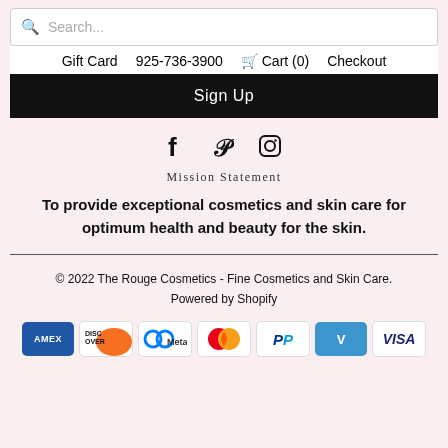Search...
Gift Card  925-736-3900  Cart (0)  Checkout
Sign Up
[Figure (other): Social media icons: Facebook, Pinterest, Instagram]
Mission Statement
To provide exceptional cosmetics and skin care for optimum health and beauty for the skin.
© 2022 The Rouge Cosmetics - Fine Cosmetics and Skin Care.
Powered by Shopify
[Figure (other): Payment method icons: American Express, Discover, Meta Pay, Mastercard, PayPal, Venmo, Visa]